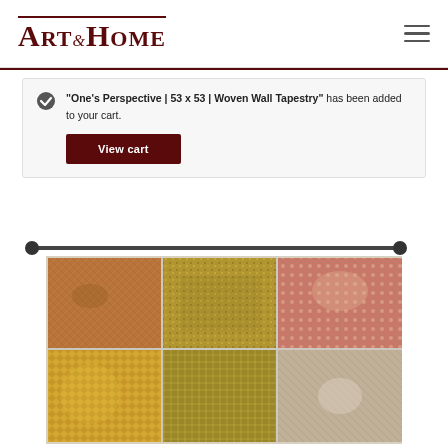[Figure (logo): Art & Home logo in dark red/maroon serif font with decorative border on top]
"One's Perspective | 53 x 53 | Woven Wall Tapestry" has been added to your cart.
View cart
[Figure (photo): Woven wall tapestry hung on a black rod showing a 3x2 grid of six decorative tapestry panels with warm earth tones — browns, golds, reds — featuring ornamental patterns, birds, and floral motifs]